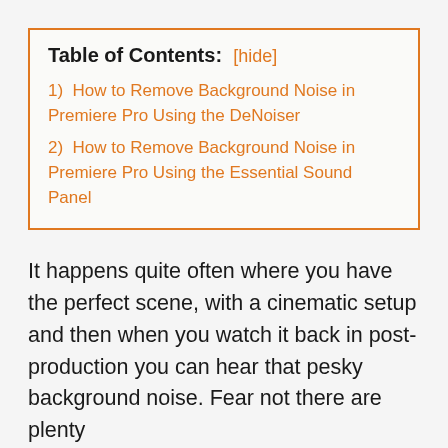Table of Contents: [hide]
1) How to Remove Background Noise in Premiere Pro Using the DeNoiser
2) How to Remove Background Noise in Premiere Pro Using the Essential Sound Panel
It happens quite often where you have the perfect scene, with a cinematic setup and then when you watch it back in post-production you can hear that pesky background noise. Fear not there are plenty of...